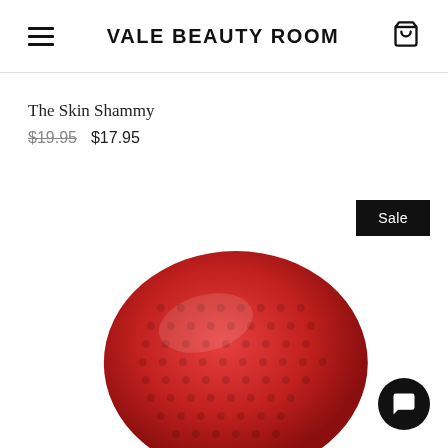VALE BEAUTY ROOM
The Skin Shammy
$19.95  $17.95
[Figure (photo): Red silicone facial cleansing brush pad, oval shaped with textured surface, viewed from above at an angle]
Sale